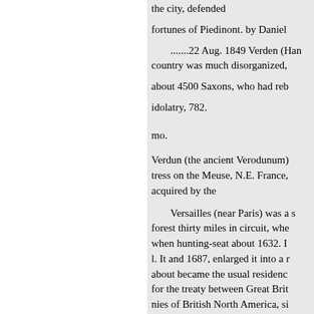the city, defended
fortunes of Piedinont. by Daniel
.......22 Aug. 1849 Verden (Han country was much disorganized,
about 4500 Saxons, who had reb
idolatry, 782.
mo.
Verdun (the ancient Verodunum) tress on the Meuse, N.E. France, acquired by the
Versailles (near Paris) was a s forest thirty miles in circuit, whe when hunting-seat about 1632. I l. It and 1687, enlarged it into a r about became the usual residence for the treaty between Great Brit nies of British North America, si Beaurepaire, power was admitte before the surren- state, 3 Sept. on 28 May, 1794, for at Versaille solicit his clemency for by whic